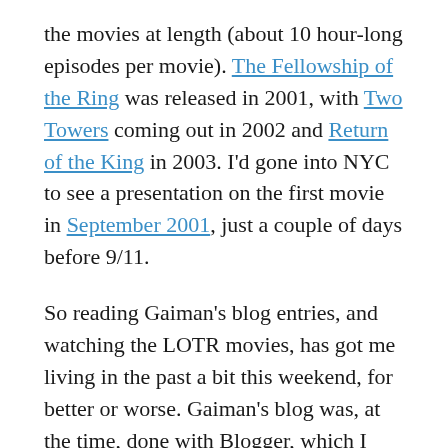the movies at length (about 10 hour-long episodes per movie). The Fellowship of the Ring was released in 2001, with Two Towers coming out in 2002 and Return of the King in 2003. I'd gone into NYC to see a presentation on the first movie in September 2001, just a couple of days before 9/11.
So reading Gaiman's blog entries, and watching the LOTR movies, has got me living in the past a bit this weekend, for better or worse. Gaiman's blog was, at the time, done with Blogger, which I was also using at that time. (I started this blog in June 2001.) So reading about his struggles with Blogger brings back some memories. And he writes about